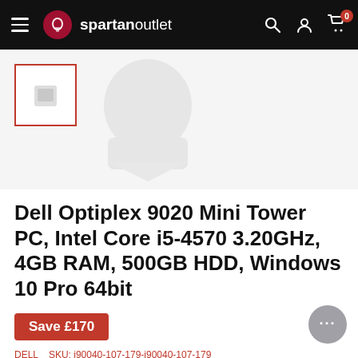spartan outlet — navigation bar with hamburger menu, logo, search, account, cart (0)
[Figure (photo): Product thumbnail and main product image (Dell Optiplex mini tower PC) shown on light grey background. Thumbnail selected with red border on left, larger faded image in center.]
Dell Optiplex 9020 Mini Tower PC, Intel Core i5-4570 3.20GHz, 4GB RAM, 500GB HDD, Windows 10 Pro 64bit
Save £170
DELL   SKU: i90040-107-179-i90040-107-179